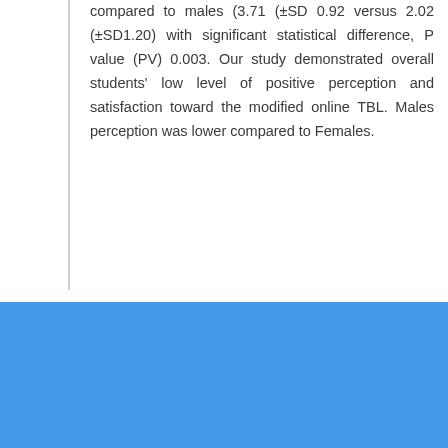compared to males (3.71 (±SD 0.92 versus 2.02 (±SD1.20) with significant statistical difference, P value (PV) 0.003. Our study demonstrated overall students' low level of positive perception and satisfaction toward the modified online TBL. Males perception was lower compared to Females.
Full article
Information
Article Processing Charges
Open Access Policy